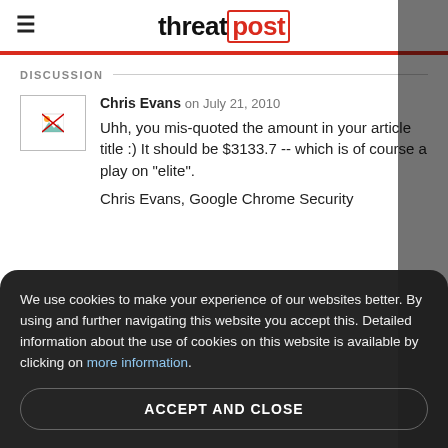threatpost
DISCUSSION
Chris Evans on July 21, 2010
Uhh, you mis-quoted the amount in your article title :) It should be $3133.7 -- which is of course a play on "elite".
Chris Evans, Google Chrome Security
We use cookies to make your experience of our websites better. By using and further navigating this website you accept this. Detailed information about the use of cookies on this website is available by clicking on more information.
ACCEPT AND CLOSE